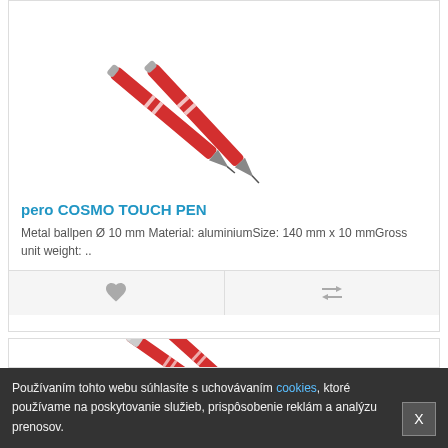[Figure (photo): Two red metal touch pens (pero COSMO TOUCH PEN) angled diagonally on white background]
pero COSMO TOUCH PEN
Metal ballpen Ø 10 mm Material: aluminiumSize: 140 mm x 10 mmGross unit weight: ..
[Figure (photo): Two red metal pens with silver chrome clips angled diagonally on white background, partial view]
Používaním tohto webu súhlasíte s uchovávaním cookies, ktoré používame na poskytovanie služieb, prispôsobenie reklám a analýzu prenosov.